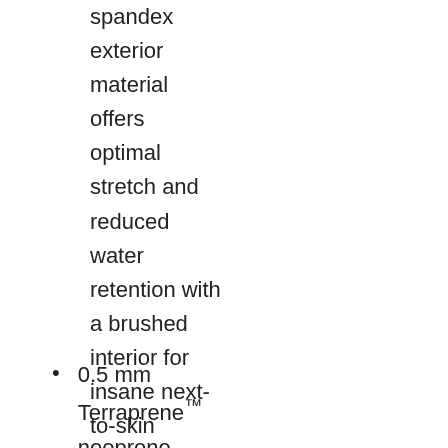spandex exterior material offers optimal stretch and reduced water retention with a brushed interior for insane next-to-skin comfort.
0.5 mm Terraprene™ neoprene